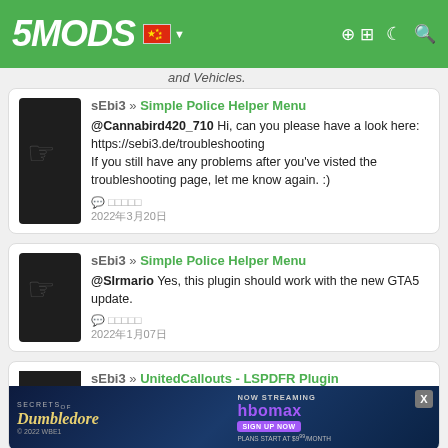5MODS navigation header with logo, Chinese flag, login and search icons
and Vehicles.
sEbi3 » Simple Police Helper Menu
@Cannabird420_710 Hi, can you please have a look here: https://sebi3.de/troubleshooting
If you still have any problems after you've visted the troubleshooting page, let me know again. :)
回复 □□□□□
2022年3月20日
sEbi3 » Simple Police Helper Menu
@SIrmario Yes, this plugin should work with the new GTA5 update.
回复 □□□□□
2022年1月07日
sEbi3 » UnitedCallouts - LSPDFR Plugin
... a look
[Figure (screenshot): Advertising banner for Fantastic Beasts: The Secrets of Dumbledore streaming on HBO Max with sign up now button]